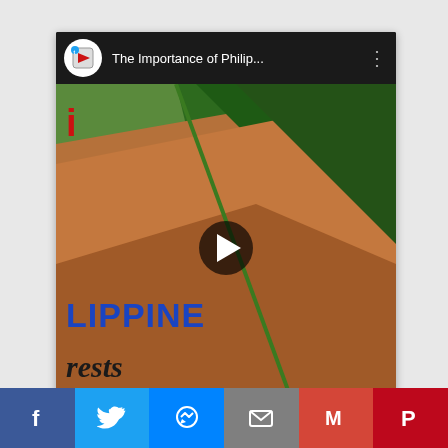[Figure (screenshot): YouTube video thumbnail for 'The Importance of Philip...' showing an aerial view of deforestation — cleared reddish-brown land beside dense green forest. The video title bar shows a channel logo and title. Text on thumbnail reads 'PHILIPPINE' in bold blue and 'rests' in italic black (part of 'forests'). A play button overlay is centered.]
[Figure (infographic): Social media share bar with six buttons: Facebook (f), Twitter (bird), Messenger (lightning bolt), Email (envelope), Gmail (M), Pinterest (P)]